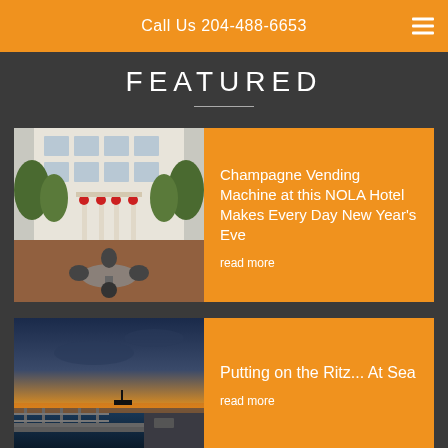Call Us 204-488-6653
FEATURED
[Figure (photo): Outdoor courtyard of a hotel with white columns, holiday red bows, black wrought-iron chairs and tables, surrounded by trees and a glass-windowed building facade.]
Champagne Vending Machine at this NOLA Hotel Makes Every Day New Year's Eve
read more
[Figure (photo): Ocean-facing ship deck with railings and a dramatic sunset sky with clouds and a silhouette of a small vessel in the distance.]
Putting on the Ritz... At Sea
read more